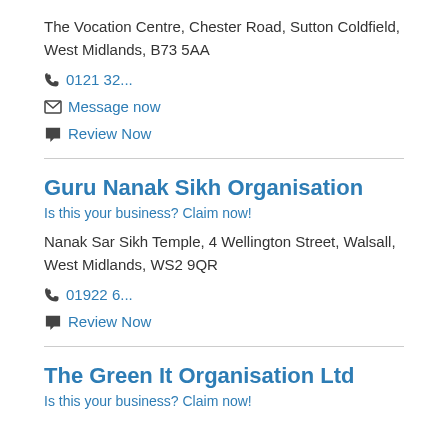The Vocation Centre, Chester Road, Sutton Coldfield, West Midlands, B73 5AA
0121 32...
Message now
Review Now
Guru Nanak Sikh Organisation
Is this your business? Claim now!
Nanak Sar Sikh Temple, 4 Wellington Street, Walsall, West Midlands, WS2 9QR
01922 6...
Review Now
The Green It Organisation Ltd
Is this your business? Claim now!